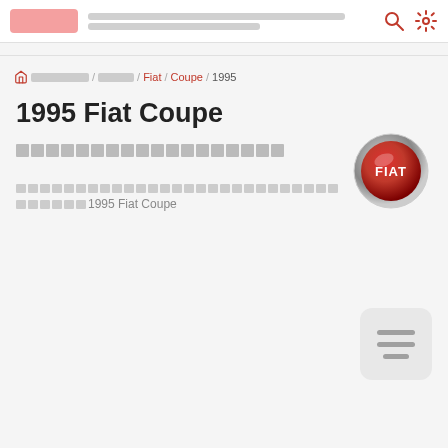Navigation bar with search and settings icons
Home / [blurred] / [blurred] / Fiat / Coupe / 1995
1995 Fiat Coupe
[blurred Thai subtitle text]
[Figure (logo): Fiat circular red and chrome logo]
[blurred Thai body text] 1995 Fiat Coupe
[Figure (other): Hamburger menu button with three horizontal lines]